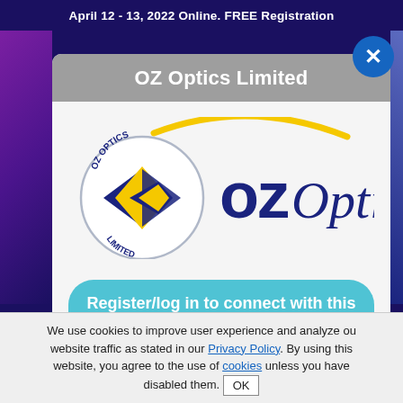April 12 - 13, 2022 Online. FREE Registration
OZ Optics Limited
[Figure (logo): OZ Optics Limited company logo — circular badge with blue and yellow diamond/arrow symbol on the left, and 'ozOptics' wordmark in dark blue on the right with a yellow arc above]
Register/log in to connect with this company
We use cookies to improve user experience and analyze our website traffic as stated in our Privacy Policy. By using this website, you agree to the use of cookies unless you have disabled them. OK